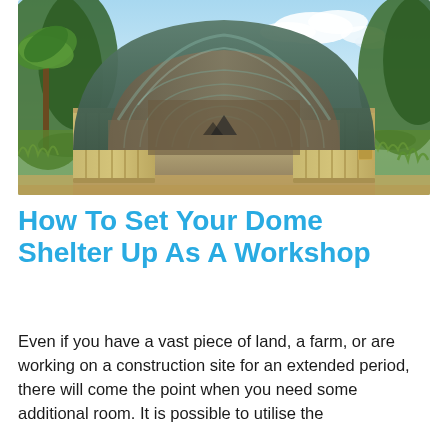[Figure (photo): A dome-shaped arched shelter with a dark grey/green corrugated metal roof spanning between two yellow shipping containers. The structure is open at the front, revealing an interior floor. Set in a green tropical landscape with palm trees and grass. A mountain logo is visible on the back wall.]
How To Set Your Dome Shelter Up As A Workshop
Even if you have a vast piece of land, a farm, or are working on a construction site for an extended period, there will come the point when you need some additional room. It is possible to utilise the